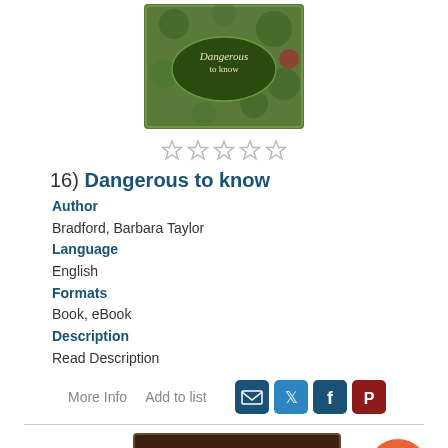[Figure (illustration): Book cover for 'Dangerous to Know' showing a green floral background with an oval logo reading 'Dangerous to know']
[Figure (other): Five empty star rating icons in a row]
16) Dangerous to know
Author
Bradford, Barbara Taylor
Language
English
Formats
Book, eBook
Description
Read Description
More Info   Add to list
[Figure (illustration): Bottom book cover showing 'BARBARA MICHAELS' in gold text on a dark brown background]
[Figure (other): Orange circle button with white upward arrow for scrolling to top]